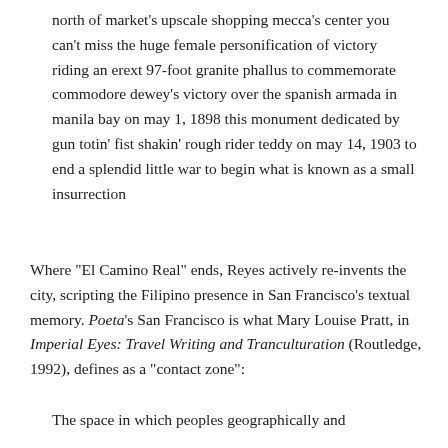north of market's upscale shopping mecca's center you can't miss the huge female personification of victory riding an erext 97-foot granite phallus to commemorate commodore dewey's victory over the spanish armada in manila bay on may 1, 1898 this monument dedicated by gun totin' fist shakin' rough rider teddy on may 14, 1903 to end a splendid little war to begin what is known as a small insurrection
Where "El Camino Real" ends, Reyes actively re-invents the city, scripting the Filipino presence in San Francisco's textual memory. Poeta's San Francisco is what Mary Louise Pratt, in Imperial Eyes: Travel Writing and Tranculturation (Routledge, 1992), defines as a "contact zone":
The space in which peoples geographically and